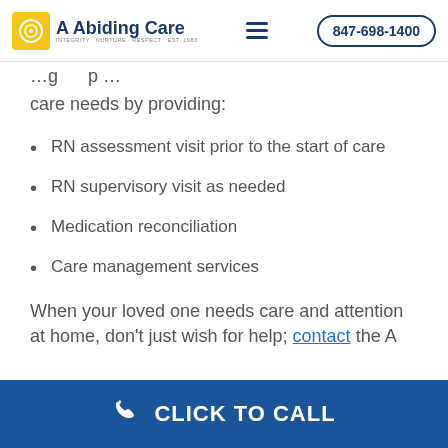A Abiding Care | 847-698-1400
care needs by providing:
RN assessment visit prior to the start of care
RN supervisory visit as needed
Medication reconciliation
Care management services
When your loved one needs care and attention at home, don't just wish for help; contact the A
CLICK TO CALL